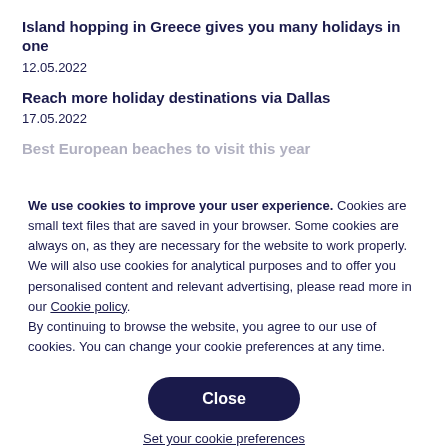Island hopping in Greece gives you many holidays in one
12.05.2022
Reach more holiday destinations via Dallas
17.05.2022
Best European beaches to visit this year
We use cookies to improve your user experience. Cookies are small text files that are saved in your browser. Some cookies are always on, as they are necessary for the website to work properly. We will also use cookies for analytical purposes and to offer you personalised content and relevant advertising, please read more in our Cookie policy.
By continuing to browse the website, you agree to our use of cookies. You can change your cookie preferences at any time.
Close
Set your cookie preferences